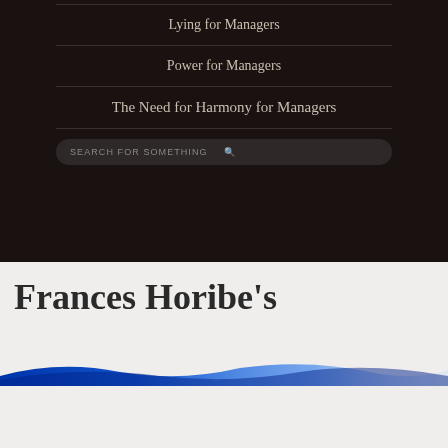Lying for Managers
Power for Managers
The Need for Harmony for Managers
Frances Horibe's